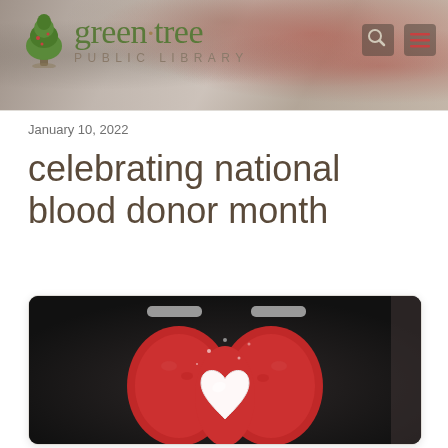[Figure (screenshot): Green Tree Public Library website header banner with logo (tree icon, 'green tree' in green serif font, 'PUBLIC LIBRARY' subtitle in gray), search and menu icons, blurred crowd background with red/warm tones]
January 10, 2022
celebrating national blood donor month
[Figure (photo): Hands wearing red mittens/gloves holding a white heart-shaped snowball against a dark winter jacket background]